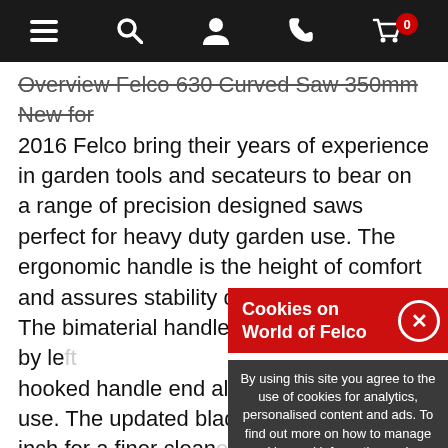Navigation bar with menu, search, account, phone, and cart (0) icons
Overview Felco 630 Curved Saw 350mm New for 2016 Felco bring their years of experience in garden tools and secateurs to bear on a range of precision designed saws perfect for heavy duty garden use. The ergonomic handle is the height of comfort and assures stability during operation. The bimaterial handle is designed for use by left hooked handle end allows use. The updated blade inch for a finer cleaner comfortable cutting. The results in a faster and cutting. The Felco 630 innovative scabbard in catches to remove saw attachment with velco pending secure blade pending secure blade
Cookies on World of Felco
By using this site you agree to the use of cookies for analytics, personalised content and ads. To find out more on how to manage cookies and information on how we use your personal data please read our privacy policy. Agree & continue